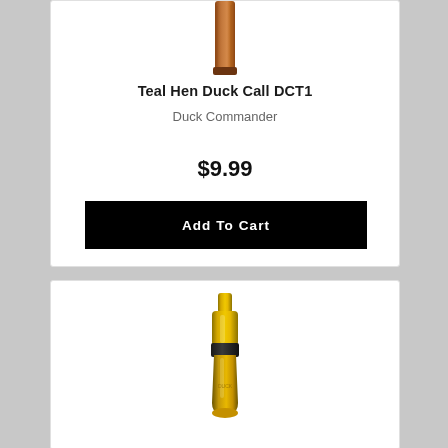[Figure (photo): Wooden duck call product image (Teal Hen Duck Call DCT1), partially visible at top of first product card]
Teal Hen Duck Call DCT1
Duck Commander
$9.99
Add To Cart
[Figure (photo): Yellow/amber transparent duck call product image in second product card]